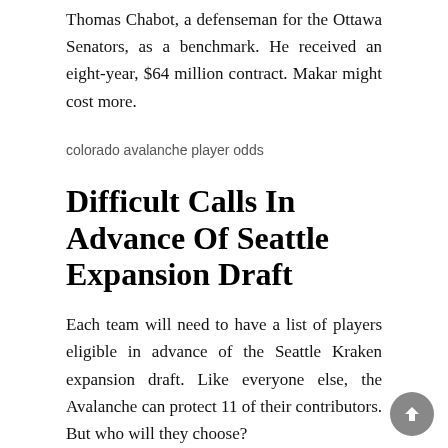Thomas Chabot, a defenseman for the Ottawa Senators, as a benchmark. He received an eight-year, $64 million contract. Makar might cost more.
[Figure (photo): Image placeholder with alt text: colorado avalanche player odds]
Difficult Calls In Advance Of Seattle Expansion Draft
Each team will need to have a list of players eligible in advance of the Seattle Kraken expansion draft. Like everyone else, the Avalanche can protect 11 of their contributors. But who will they choose?
Cap implications from the above contract situations might play a role. Looking at their most likely off-limits choices, they're probably going to unprotect defenseman J.T. Compher or winger Valeri Nichushkin—if not both.
Some have even speculated the Avalanche will unprotect center Nazem Kadri. The 30-year-old center is not only